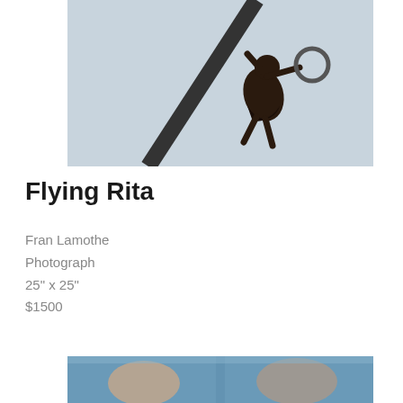[Figure (photo): A performer in a black dress suspended high in the air on a pole or trapeze, holding a ring, photographed from below against a light sky background.]
Flying Rita
Fran Lamothe
Photograph
25" x 25"
$1500
[Figure (photo): Partial view of a second photograph showing figures in an outdoor setting against a blue sky, cropped at the bottom of the page.]